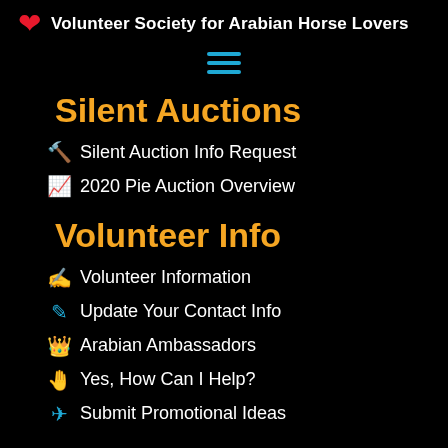Volunteer Society for Arabian Horse Lovers
Silent Auctions
Silent Auction Info Request
2020 Pie Auction Overview
Volunteer Info
Volunteer Information
Update Your Contact Info
Arabian Ambassadors
Yes, How Can I Help?
Submit Promotional Ideas
Global Calendar